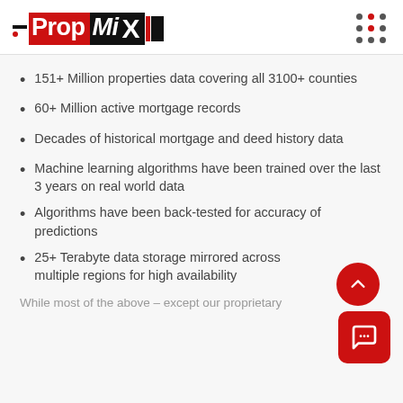[Figure (logo): PropMiX logo with red, black and white branding]
151+ Million properties data covering all 3100+ counties
60+ Million active mortgage records
Decades of historical mortgage and deed history data
Machine learning algorithms have been trained over the last 3 years on real world data
Algorithms have been back-tested for accuracy of predictions
25+ Terabyte data storage mirrored across multiple regions for high availability
While most of the above – except our proprietary